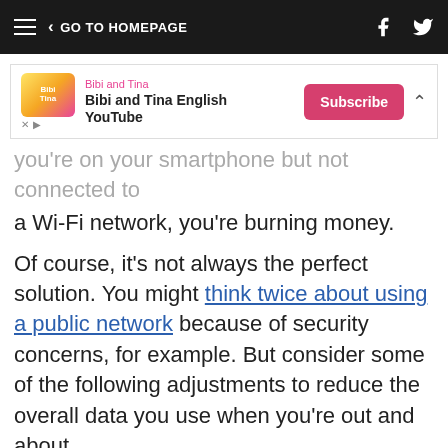GO TO HOMEPAGE
[Figure (other): Advertisement banner for Bibi and Tina English YouTube channel with Subscribe button]
you're on your smartphone but not connected to a Wi-Fi network, you're burning money.
Of course, it's not always the perfect solution. You might think twice about using a public network because of security concerns, for example. But consider some of the following adjustments to reduce the overall data you use when you're out and about.
Check on your apps